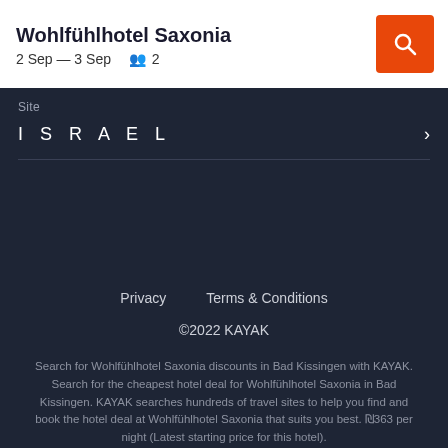Wohlfühlhotel Saxonia
2 Sep — 3 Sep    👥 2
Site
ISRAEL
Privacy    Terms & Conditions
©2022 KAYAK
Search for Wohlfühlhotel Saxonia discounts in Bad Kissingen with KAYAK. Search for the cheapest hotel deal for Wohlfühlhotel Saxonia in Bad Kissingen. KAYAK searches hundreds of travel sites to help you find and book the hotel deal at Wohlfühlhotel Saxonia that suits you best. ₪363 per night (Latest starting price for this hotel).